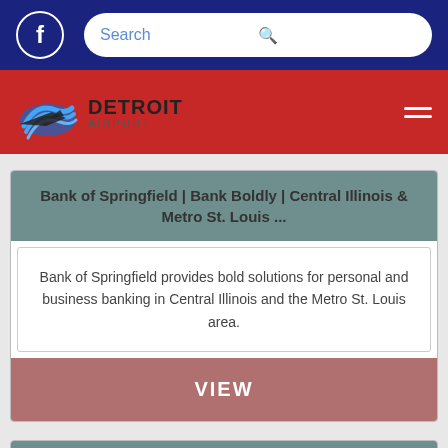Facebook | Search
[Figure (logo): Detroit Airport logo with airplane silhouette and red/blue wave graphic]
Bank of Springfield | Bank Boldly | Central Illinois & Metro St. Louis ...
Bank of Springfield provides bold solutions for personal and business banking in Central Illinois and the Metro St. Louis area.
VIEW
Bajaj Finserv RBL Bank SuperCard Reward Points Offers | RBL Bank
Now make your down payment by redeeming your Bajaj